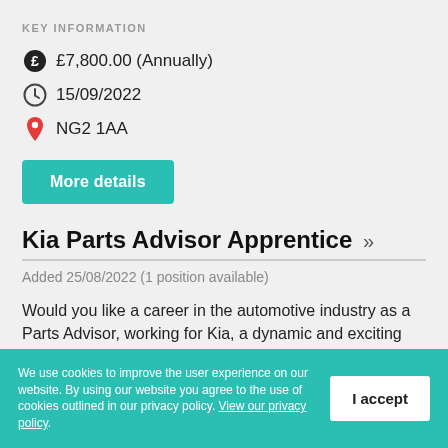KEY INFORMATION
£7,800.00 (Annually)
15/09/2022
NG2 1AA
More details
Kia Parts Advisor Apprentice »
Added 25/08/2022 (1 position available)
Would you like a career in the automotive industry as a Parts Advisor, working for Kia, a dynamic and exciting brand whose company ethos is 'Family like Care'? Duties will include liaising with customer,
We use cookies to improve the user experience on our website. By using our website you agree to the use of cookies outlined in our privacy policy. View our privacy policy.